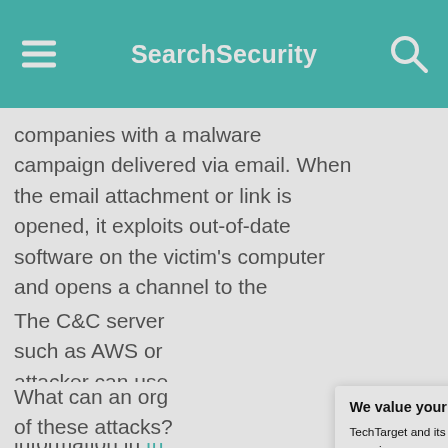SearchSecurity
companies with a malware campaign delivered via email. When the email attachment or link is opened, it exploits out-of-date software on the victim's computer and opens a channel to the attacker's command-and-control (C&C) server.
The C&C server [partially obscured] such as AWS or [partially obscured] attacker can use [partially obscured] is owned by the [partially obscured] information in th[e...] instances can be[...] making it virtuall[y...] the real perpetra[tor...]
What can an org[anization do to protect itself] of these attacks?
[Figure (screenshot): Cookie consent modal dialog with title 'We value your privacy.' containing text about TechTarget and its partners using cookies, with links to 'manage your settings' and 'Privacy Policy', and OK and Settings buttons. A close button (X) is in the top right corner.]